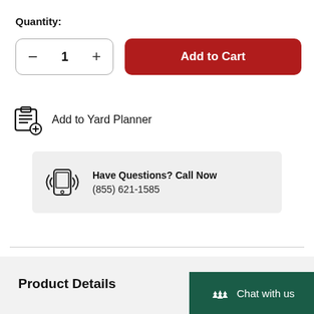Quantity:
[Figure (other): Quantity selector control with minus button, number 1, and plus button in a rounded rectangle border]
[Figure (other): Add to Cart button in dark red with rounded corners]
[Figure (other): Add to Yard Planner icon (clipboard with plus sign) and text]
[Figure (other): Call box with phone icon and text: Have Questions? Call Now, (855) 621-1585]
Product Details
[Figure (other): Chat with us button in dark green with tree icon]